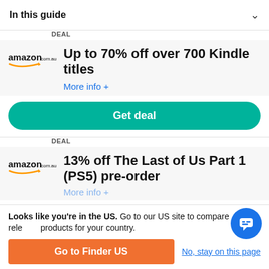In this guide
DEAL
Up to 70% off over 700 Kindle titles
More info +
Get deal
DEAL
13% off The Last of Us Part 1 (PS5) pre-order
More info +
Looks like you're in the US. Go to our US site to compare relevant products for your country.
Go to Finder US
No, stay on this page